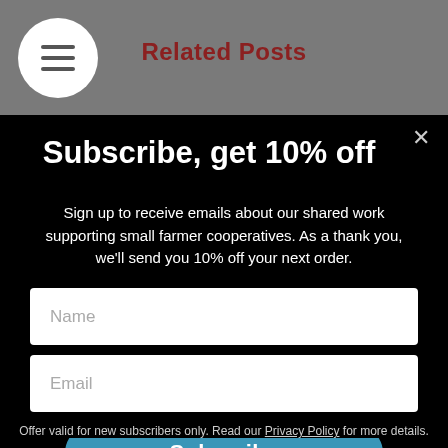Related Posts
Subscribe, get 10% off
Sign up to receive emails about our shared work supporting small farmer cooperatives. As a thank you, we'll send you 10% off your next order.
Name
Email
Subscribe
Offer valid for new subscribers only. Read our Privacy Policy for more details.